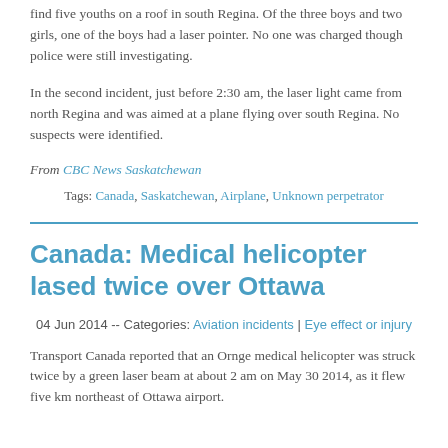find five youths on a roof in south Regina. Of the three boys and two girls, one of the boys had a laser pointer. No one was charged though police were still investigating.
In the second incident, just before 2:30 am, the laser light came from north Regina and was aimed at a plane flying over south Regina. No suspects were identified.
From CBC News Saskatchewan
Tags: Canada, Saskatchewan, Airplane, Unknown perpetrator
Canada: Medical helicopter lased twice over Ottawa
04 Jun 2014 -- Categories: Aviation incidents | Eye effect or injury
Transport Canada reported that an Ornge medical helicopter was struck twice by a green laser beam at about 2 am on May 30 2014, as it flew five km northeast of Ottawa airport.